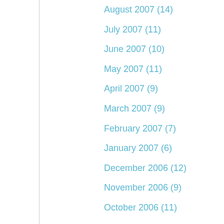August 2007 (14)
July 2007 (11)
June 2007 (10)
May 2007 (11)
April 2007 (9)
March 2007 (9)
February 2007 (7)
January 2007 (6)
December 2006 (12)
November 2006 (9)
October 2006 (11)
September 2006 (13)
August 2006 (10)
July 2006 (9)
June 2006 (12)
May 2006 (11)
April 2006 (2)